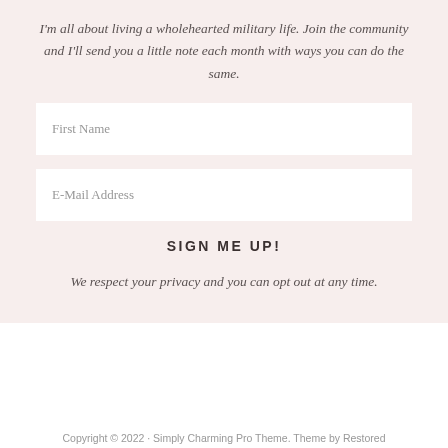I'm all about living a wholehearted military life. Join the community and I'll send you a little note each month with ways you can do the same.
First Name
E-Mail Address
SIGN ME UP!
We respect your privacy and you can opt out at any time.
Copyright © 2022 · Simply Charming Pro Theme. Theme by Restored